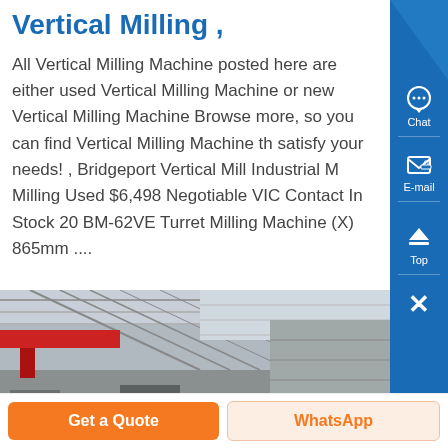Vertical Milling ,
All Vertical Milling Machine posted here are either used Vertical Milling Machine or new Vertical Milling Machine Browse more, so you can find Vertical Milling Machine th satisfy your needs! , Bridgeport Vertical Mill Industrial M Milling Used $6,498 Negotiable VIC Contact In Stock 20 BM-62VE Turret Milling Machine (X) 865mm ....
[Figure (photo): Interior of a large industrial factory/warehouse with overhead cranes, steel roof trusses, and machinery on the floor. A red bridge crane is visible on the left side.]
Get a Quote
WhatsApp